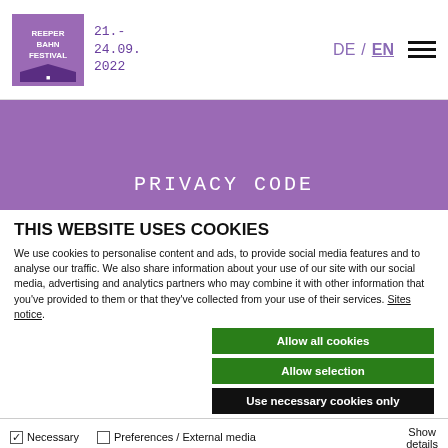[Figure (logo): Reeperbahn Festival logo - square with stylized text]
21.-
24.09.
2022
DE / EN
[Figure (illustration): Hamburger menu icon - three horizontal lines]
PRIVACY CODE
THIS WEBSITE USES COOKIES
We use cookies to personalise content and ads, to provide social media features and to analyse our traffic. We also share information about your use of our site with our social media, advertising and analytics partners who may combine it with other information that you've provided to them or that they've collected from your use of their services. Sites notice.
Allow all cookies
Allow selection
Use necessary cookies only
Necessary   Preferences / External media   Show details
Statistics   Marketing